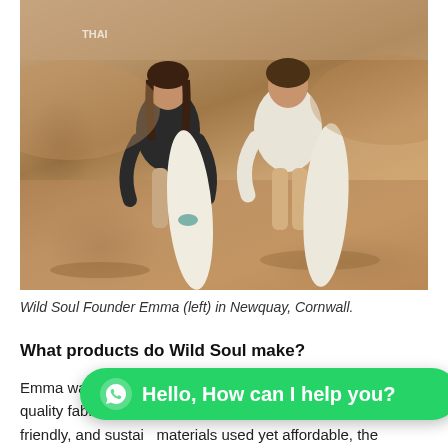[Figure (photo): Two young women standing on a sandy beach, each holding a white surfboard/bodyboard upright beside them. The woman on the left wears a dark top, the one on the right wears a light sweatshirt. The photo has a warm, vintage sepia-toned feel. Small text 'THAI' visible in upper left of photo.]
Wild Soul Founder Emma (left) in Newquay, Cornwall.
What products do Wild Soul make?
Emma wanted Wild Soul to have clothes that use premium quality fabrics, its responsibly made, using natural, echo friendly, and sustai… materials used yet affordable, the clothing feels and loo…
[Figure (screenshot): WhatsApp chat button overlay with green rounded rectangle, WhatsApp logo icon, and text 'Hello, How can I help you?']